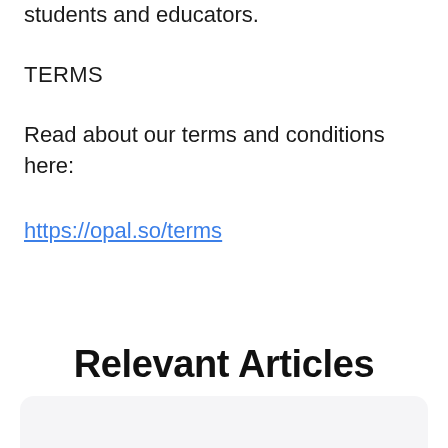students and educators.
TERMS
Read about our terms and conditions here:
https://opal.so/terms
Relevant Articles